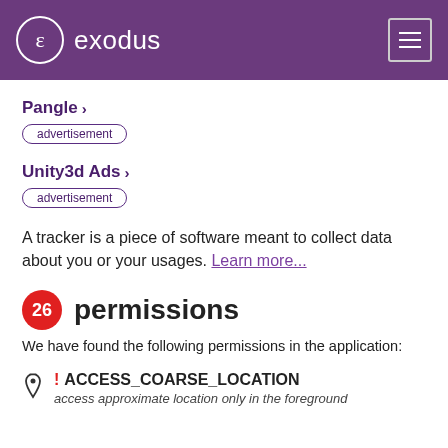exodus
Pangle >
advertisement
Unity3d Ads >
advertisement
A tracker is a piece of software meant to collect data about you or your usages. Learn more...
26 permissions
We have found the following permissions in the application:
ACCESS_COARSE_LOCATION — access approximate location only in the foreground